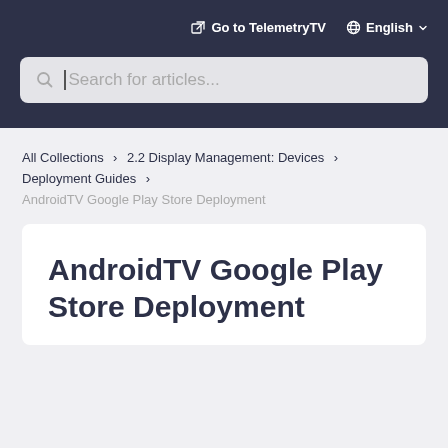Go to TelemetryTV  English
[Figure (screenshot): Search bar with magnifying glass icon and placeholder text 'Search for articles...' with cursor]
All Collections > 2.2 Display Management: Devices > Deployment Guides > AndroidTV Google Play Store Deployment
AndroidTV Google Play Store Deployment